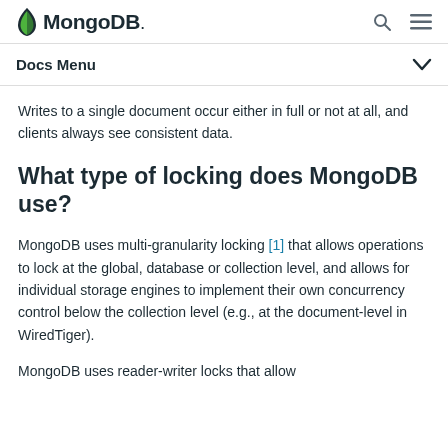MongoDB [logo] | search | menu
Docs Menu
Writes to a single document occur either in full or not at all, and clients always see consistent data.
What type of locking does MongoDB use?
MongoDB uses multi-granularity locking [1] that allows operations to lock at the global, database or collection level, and allows for individual storage engines to implement their own concurrency control below the collection level (e.g., at the document-level in WiredTiger).
MongoDB uses reader-writer locks that allow